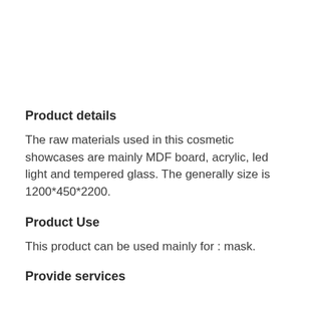Product details
The raw materials used in this cosmetic showcases are mainly MDF board, acrylic, led light and tempered glass. The generally size is  1200*450*2200.
Product Use
This product can be used mainly for : mask.
Provide services